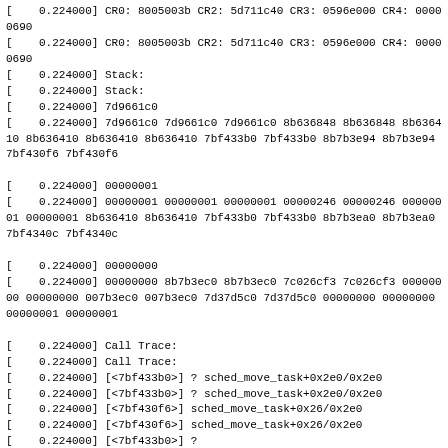[    0.224000] CR0: 8005003b CR2: 5d711c40 CR3: 0596e000 CR4: 00000690
[    0.224000] CR0: 8005003b CR2: 5d711c40 CR3: 0596e000 CR4: 00000690
[    0.224000] Stack:
[    0.224000] Stack:
[    0.224000] 7d9661c0
[    0.224000] 7d9661c0 7d9661c0 7d9661c0 8b636848 8b636848 8b636410 8b636410 8b636410 8b636410 7bf433b0 7bf433b0 8b7b3e94 8b7b3e94 7bf430f6 7bf430f6

[    0.224000] 00000001
[    0.224000] 00000001 00000001 00000001 00000246 00000246 00000001 00000001 8b636410 8b636410 7bf433b0 7bf433b0 8b7b3ea0 8b7b3ea0 7bf4340c 7bf4340c

[    0.224000] 00000000
[    0.224000] 00000000 8b7b3ec0 8b7b3ec0 7c026cf3 7c026cf3 00000000 00000000 007b3ec0 007b3ec0 7d37d5c0 7d37d5c0 00000000 00000000 00000001 00000001

[    0.224000] Call Trace:
[    0.224000] Call Trace:
[    0.224000] [<7bf433b0>] ? sched_move_task+0x2e0/0x2e0
[    0.224000] [<7bf433b0>] ? sched_move_task+0x2e0/0x2e0
[    0.224000] [<7bf430f6>] sched_move_task+0x26/0x2e0
[    0.224000] [<7bf430f6>] sched_move_task+0x26/0x2e0
[    0.224000] [<7bf433b0>] ?